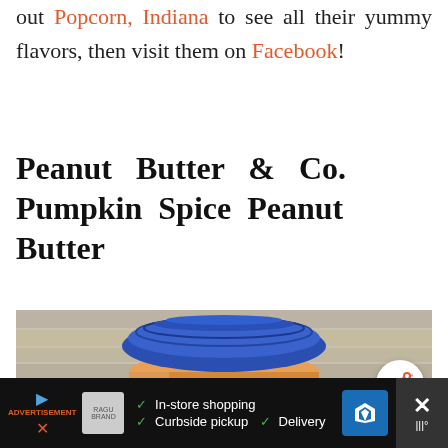out Popcorn, Indiana to see all their yummy flavors, then visit them on Facebook!
Peanut Butter & Co. Pumpkin Spice Peanut Butter
[Figure (photo): A jar of Peanut Butter & Co. Pumpkin Spice peanut butter with a blue lid, sitting on a wooden surface]
Ad: In-store shopping | Curbside pickup | Delivery